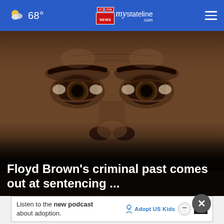68° — mystateline.com news header navigation
[Figure (photo): Close-up photograph of a person's face (eyes and nose), dark and moody lighting, with bold white headline text overlaid at the bottom: Floyd Brown's criminal past comes out at sentencing ...]
Floyd Brown's criminal past comes out at sentencing ...
[Figure (infographic): Advertisement banner: Listen to the new podcast about adoption. Adopt US Kids logo with HHS seal and ad badge.]